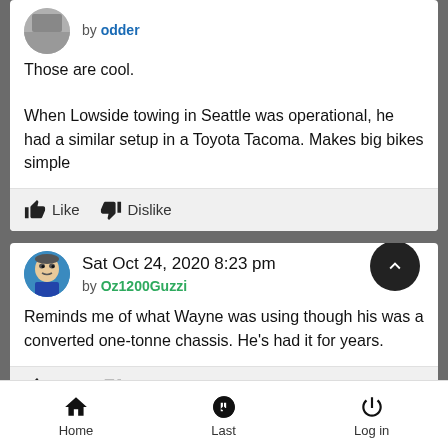by odder
Those are cool.
When Lowside towing in Seattle was operational, he had a similar setup in a Toyota Tacoma. Makes big bikes simple
Like  Dislike
Sat Oct 24, 2020 8:23 pm
by Oz1200Guzzi
Reminds me of what Wayne was using though his was a converted one-tonne chassis. He's had it for years.
Like  Dislike
Home  Last  Log in